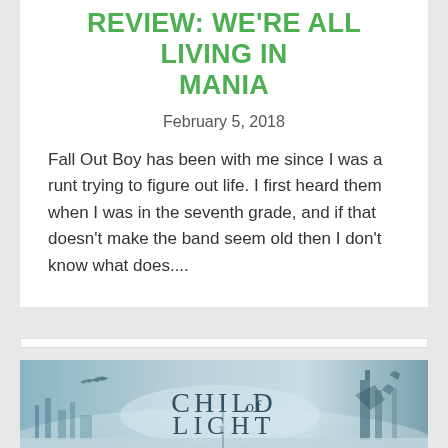Review: We're All Living In MANIA
February 5, 2018
Fall Out Boy has been with me since I was a runt trying to figure out life. I first heard them when I was in the seventh grade, and if that doesn't make the band seem old then I don't know what does....
[Figure (illustration): Child of Light game promotional banner with misty blue-grey fantasy artwork showing a bird silhouette on the left, a castle/tower on the right, and 'CHILD of LIGHT' text in the center]